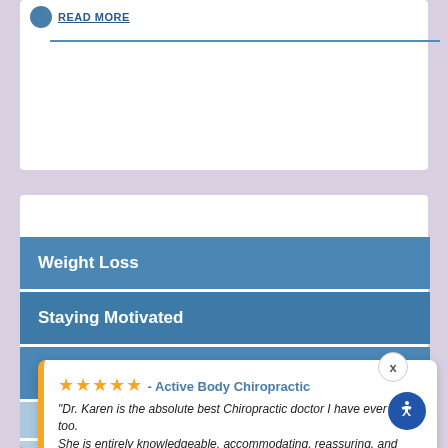[Figure (screenshot): Website header with blue circle logo and underlined text link, followed by a blue horizontal divider line]
NEWSLETTER LIBRARY
Weight Loss
Staying Motivated
Staying Young
★★★★★ - Active Body Chiropractic
"Dr. Karen is the absolute best Chiropractic doctor I have ever been too.
She is entirely knowledgeable, accommodating, reassuring, and excellent at her craft.
She has helped me, and my father,..."
— Stephany Pascoal, 2 months ago
⚡ by Review Wave